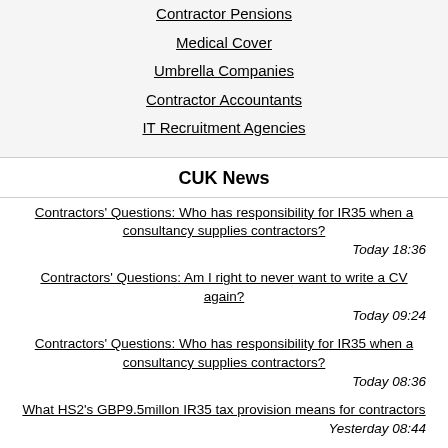Contractor Pensions
Medical Cover
Umbrella Companies
Contractor Accountants
IT Recruitment Agencies
CUK News
Contractors' Questions: Who has responsibility for IR35 when a consultancy supplies contractors?
Today 18:36
Contractors' Questions: Am I right to never want to write a CV again?
Today 09:24
Contractors' Questions: Who has responsibility for IR35 when a consultancy supplies contractors?
Today 08:36
What HS2's GBP9.5millon IR35 tax provision means for contractors
Yesterday 08:44
MTD for VAT: what are the HMRC penalties for failing to comply?
Yesterday 08:30
FCSA appoints four independent experts as 'final arbiter' of its dispute decisions
Aug 16 08:38